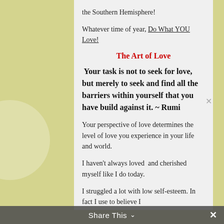the Southern Hemisphere!
Whatever time of year, Do What YOU Love!
The Art of Love
Your task is not to seek for love, but merely to seek and find all the barriers within yourself that you have build against it. ~ Rumi
Your perspective of love determines the level of love you experience in your life and world.
I haven't always loved  and cherished myself like I do today.
I struggled a lot with low self-esteem. In fact I use to believe I
Share This